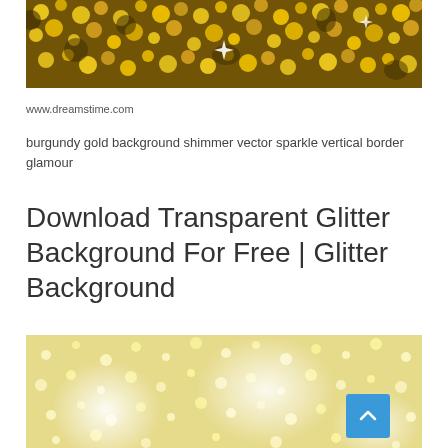[Figure (photo): Gold glitter bokeh sparkle background image with dark and bright golden tones]
www.dreamstime.com
burgundy gold background shimmer vector sparkle vertical border glamour
Download Transparent Glitter Background For Free | Glitter Background
[Figure (photo): Light gold glitter sparkle bokeh background with bright white glow spots]